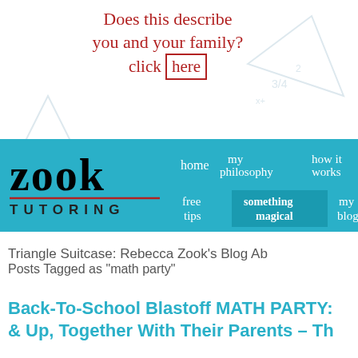[Figure (screenshot): Website header with handwritten red text on white background with faint math doodles, reading 'Does this describe you and your family? click here' with 'here' in a box. Below is the Zook Tutoring logo navigation bar in teal/cyan with nav links: home, my philosophy, how it works, free tips, something magical, my blog.]
Triangle Suitcase: Rebecca Zook's Blog Ab
Posts Tagged as "math party"
Back-To-School Blastoff MATH PARTY: & Up, Together With Their Parents – Th